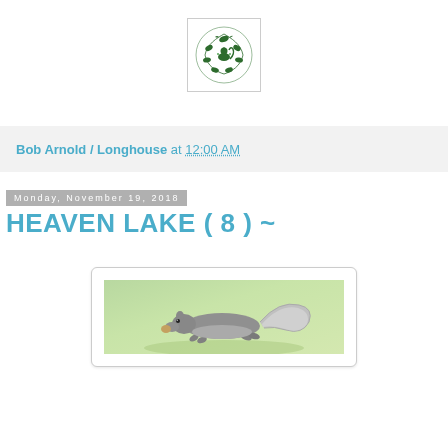[Figure (logo): Green illustrated logo with animals/plants in a circular arrangement on white background with border]
Bob Arnold / Longhouse at 12:00 AM
Monday, November 19, 2018
HEAVEN LAKE ( 8 ) ~
[Figure (photo): A gray squirrel in profile running or leaping, carrying something in its mouth, on a green blurred background]